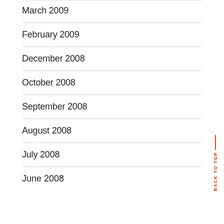March 2009
February 2009
December 2008
October 2008
September 2008
August 2008
July 2008
June 2008